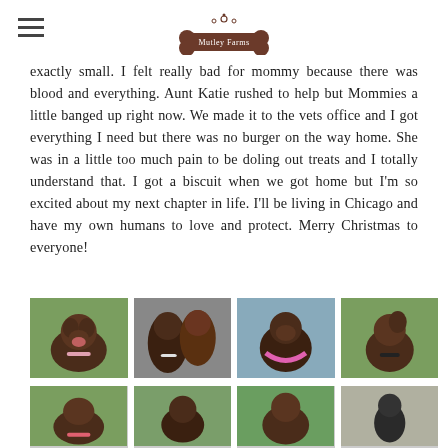Mutley Farms logo
exactly small. I felt really bad for mommy because there was blood and everything. Aunt Katie rushed to help but Mommies a little banged up right now. We made it to the vets office and I got everything I need but there was no burger on the way home. She was in a little too much pain to be doling out treats and I totally understand that. I got a biscuit when we got home but I'm so excited about my next chapter in life. I'll be living in Chicago and have my own humans to love and protect. Merry Christmas to everyone!
[Figure (photo): Grid of 8 photos of a chocolate Labrador dog in various outdoor settings]
[Figure (photo): Second row of dog photos, partially visible]